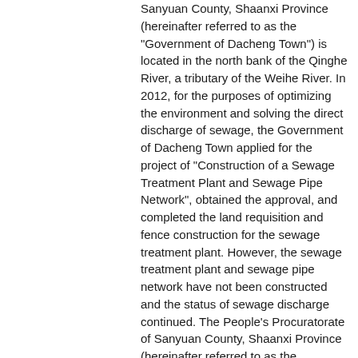Sanyuan County, Shaanxi Province (hereinafter referred to as the "Government of Dacheng Town") is located in the north bank of the Qinghe River, a tributary of the Weihe River. In 2012, for the purposes of optimizing the environment and solving the direct discharge of sewage, the Government of Dacheng Town applied for the project of "Construction of a Sewage Treatment Plant and Sewage Pipe Network", obtained the approval, and completed the land requisition and fence construction for the sewage treatment plant. However, the sewage treatment plant and sewage pipe network have not been constructed and the status of sewage discharge continued. The People's Procuratorate of Sanyuan County, Shaanxi Province (hereinafter referred to as the "Procuratorate of Sanyuan County") issued a procuratorial proposal to the Government of Dacheng Town. The Government of Dacheng Town failed to reply within the prescribed time limit, nor did it commence